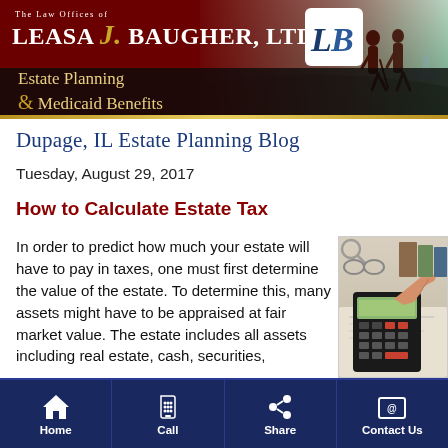The Law Offices of Leasa J. Baugher, LTD – Estate Planning & Medicaid Benefits
Dupage, IL Estate Planning Blog
Tuesday, August 29, 2017
How to Calculate Estate Tax
In order to predict how much your estate will have to pay in taxes, one must first determine the value of the estate. To determine this, many assets might have to be appraised at fair market value. The estate includes all assets including real estate, cash, securities,
[Figure (photo): A person's hand using a calculator on a desk with documents and glasses in the background]
Home | Call | Share | Contact Us